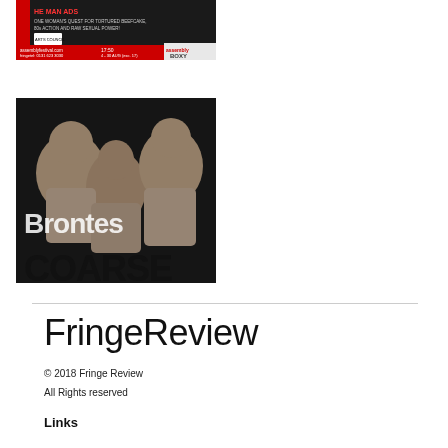[Figure (photo): Advertisement banner with dark background, red strip at bottom reading 'assemblyfestival.com | 17:50 | assembly BOXY', text mentions 'ONE WOMAN'S QUEST FOR TORTURED BEEFCAKE, 80s ACTION AND RAW SEXUAL POWER']
[Figure (photo): Photo of three women in beige/nude tops against dark background, with text overlay reading 'Brontes COARSE' in bold white and black letters]
FringeReview
© 2018 Fringe Review
All Rights reserved
Links